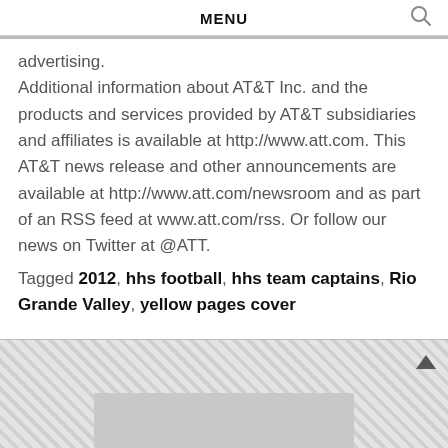MENU
advertising.
Additional information about AT&T Inc. and the products and services provided by AT&T subsidiaries and affiliates is available at http://www.att.com. This AT&T news release and other announcements are available at http://www.att.com/newsroom and as part of an RSS feed at www.att.com/rss. Or follow our news on Twitter at @ATT.
Tagged 2012, hhs football, hhs team captains, Rio Grande Valley, yellow pages cover
[Figure (screenshot): Hatched gray area at the bottom of the page representing a scrollable sidebar or advertisement area with an up arrow scroll button in the top-right and a lighter gray rectangle below.]